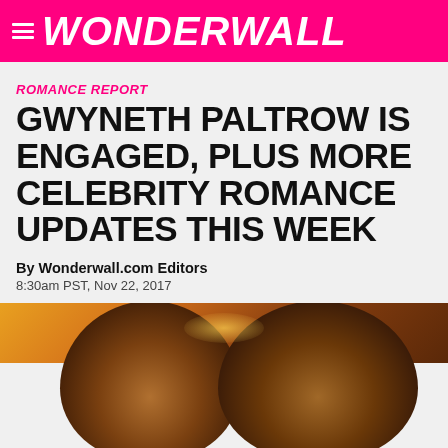WONDERWALL
ROMANCE REPORT
GWYNETH PALTROW IS ENGAGED, PLUS MORE CELEBRITY ROMANCE UPDATES THIS WEEK
By Wonderwall.com Editors
8:30am PST, Nov 22, 2017
[Figure (photo): Photo of two people from behind/above showing tops of heads, warm golden sunset lighting]